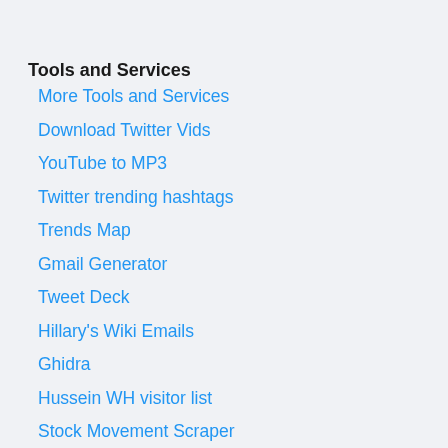Tools and Services
More Tools and Services
Download Twitter Vids
YouTube to MP3
Twitter trending hashtags
Trends Map
Gmail Generator
Tweet Deck
Hillary's Wiki Emails
Ghidra
Hussein WH visitor list
Stock Movement Scraper